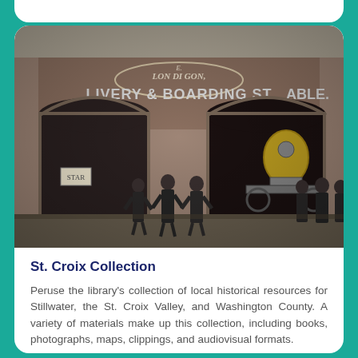[Figure (photo): Black and white historical photograph of men standing in front of a brick building with two large arched doorways. The building facade reads 'E. LON DI GON' at the top and 'LIVERY & BOARDING STABLE' across the front. A steam-powered fire engine or similar mechanical apparatus is visible in the right archway. Several men in long coats and hats are posed in front of the building.]
St. Croix Collection
Peruse the library's collection of local historical resources for Stillwater, the St. Croix Valley, and Washington County. A variety of materials make up this collection, including books, photographs, maps, clippings, and audiovisual formats.